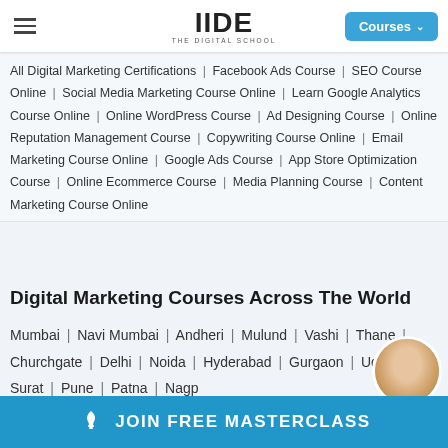IIDE – The Digital School | Courses
All Digital Marketing Certifications | Facebook Ads Course | SEO Course Online | Social Media Marketing Course Online | Learn Google Analytics Course Online | Online WordPress Course | Ad Designing Course | Online Reputation Management Course | Copywriting Course Online | Email Marketing Course Online | Google Ads Course | App Store Optimization Course | Online Ecommerce Course | Media Planning Course | Content Marketing Course Online
Digital Marketing Courses Across The World
Mumbai | Navi Mumbai | Andheri | Mulund | Vashi | Thane | Churchgate | Delhi | Noida | Hyderabad | Gurgaon | Udaipur | Surat | Pune | Patna | Nagp...
JOIN FREE MASTERCLASS